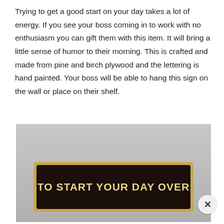Trying to get a good start on your day takes a lot of energy. If you see your boss coming in to work with no enthusiasm you can gift them with this item. It will bring a little sense of humor to their morning. This is crafted and made from pine and birch plywood and the lettering is hand painted. Your boss will be able to hang this sign on the wall or place on their shelf.
[Figure (photo): Photo of a decorative wooden sign with dark brown/black background and gold/yellow lettering reading 'TO START YOUR DAY OVER', with a gold-colored wood frame, displayed on a light gray/white surface.]